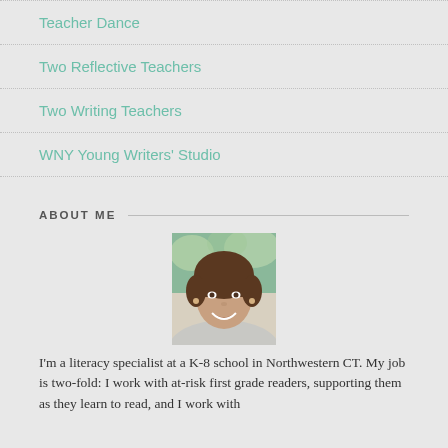Teacher Dance
Two Reflective Teachers
Two Writing Teachers
WNY Young Writers' Studio
ABOUT ME
[Figure (photo): Headshot of a middle-aged woman with short brown hair, smiling, outdoors with green foliage in background.]
I'm a literacy specialist at a K-8 school in Northwestern CT. My job is two-fold: I work with at-risk first grade readers, supporting them as they learn to read, and I work with